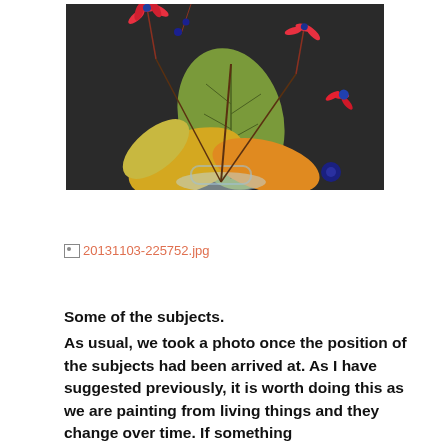[Figure (photo): Photograph of autumn leaves and red flowers with dark berries arranged in a glass vase against a dark background]
[Figure (other): Broken image link placeholder showing '20131103-225752.jpg' in orange/salmon colored text]
Some of the subjects.
As usual, we took a photo once the position of the subjects had been arrived at. As I have suggested previously, it is worth doing this as we are painting from living things and they change over time. If something...